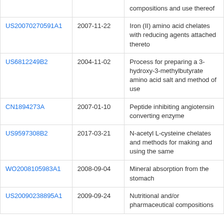| Patent ID | Date | Description |
| --- | --- | --- |
|  |  | compositions and use thereof |
| US20070270591A1 | 2007-11-22 | Iron (II) amino acid chelates with reducing agents attached thereto |
| US6812249B2 | 2004-11-02 | Process for preparing a 3-hydroxy-3-methylbutyrate amino acid salt and method of use |
| CN1894273A | 2007-01-10 | Peptide inhibiting angiotensin converting enzyme |
| US9597308B2 | 2017-03-21 | N-acetyl L-cysteine chelates and methods for making and using the same |
| WO2008105983A1 | 2008-09-04 | Mineral absorption from the stomach |
| US20090238895A1 | 2009-09-24 | Nutritional and/or pharmaceutical compositions |